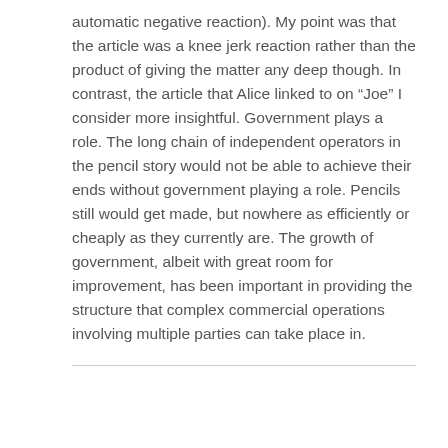automatic negative reaction). My point was that the article was a knee jerk reaction rather than the product of giving the matter any deep though. In contrast, the article that Alice linked to on “Joe” I consider more insightful. Government plays a role. The long chain of independent operators in the pencil story would not be able to achieve their ends without government playing a role. Pencils still would get made, but nowhere as efficiently or cheaply as they currently are. The growth of government, albeit with great room for improvement, has been important in providing the structure that complex commercial operations involving multiple parties can take place in.